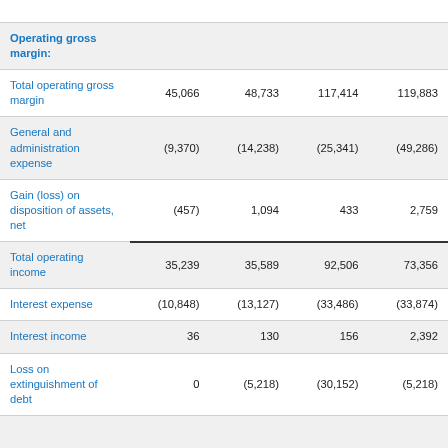|  | Col1 | Col2 | Col3 | Col4 |
| --- | --- | --- | --- | --- |
| Operating gross margin: |  |  |  |  |
| Total operating gross margin | 45,066 | 48,733 | 117,414 | 119,883 |
| General and administration expense | (9,370) | (14,238) | (25,341) | (49,286) |
| Gain (loss) on disposition of assets, net | (457) | 1,094 | 433 | 2,759 |
| Total operating income | 35,239 | 35,589 | 92,506 | 73,356 |
| Interest expense | (10,848) | (13,127) | (33,486) | (33,874) |
| Interest income | 36 | 130 | 156 | 2,392 |
| Loss on extinguishment of debt | 0 | (5,218) | (30,152) | (5,218) |
| Other... |  |  |  |  |